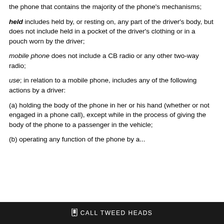the phone that contains the majority of the phone's mechanisms;
held includes held by, or resting on, any part of the driver's body, but does not include held in a pocket of the driver's clothing or in a pouch worn by the driver;
mobile phone does not include a CB radio or any other two-way radio;
use; in relation to a mobile phone, includes any of the following actions by a driver:
(a) holding the body of the phone in her or his hand (whether or not engaged in a phone call), except while in the process of giving the body of the phone to a passenger in the vehicle;
(b) ...
CALL TWEED HEADS